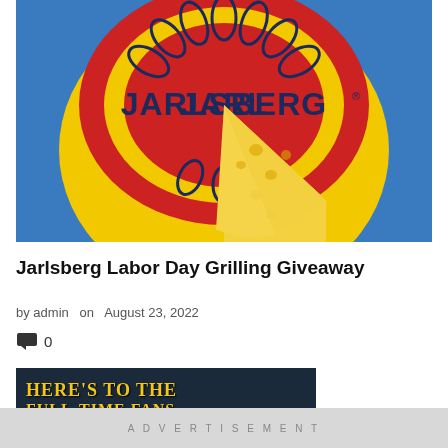[Figure (photo): Jarlsberg cheese wheel on blue background with a wedge cut out, showing the yellow wax exterior and cheese interior with holes. The wheel has the Jarlsberg logo in dark blue text on a red and yellow circular label with decorative leaf/petal motifs.]
Jarlsberg Labor Day Grilling Giveaway
by admin  on  August 23, 2022
0
[Figure (photo): Partial image showing text 'HERE'S TO THE' in bold yellow/gold serif font and below it partial text 'FULL-TIME FANS...' on a dark navy background.]
ADVERTISEMENT